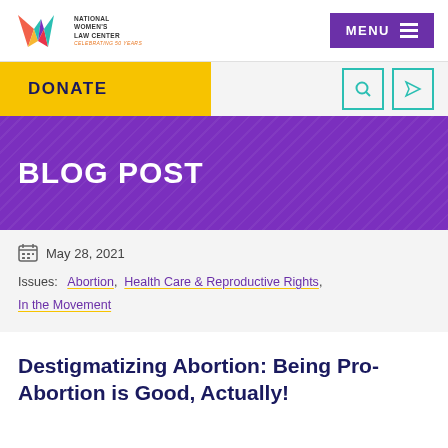National Women's Law Center — MENU
DONATE
BLOG POST
May 28, 2021
Issues: Abortion, Health Care & Reproductive Rights, In the Movement
Destigmatizing Abortion: Being Pro-Abortion is Good, Actually!